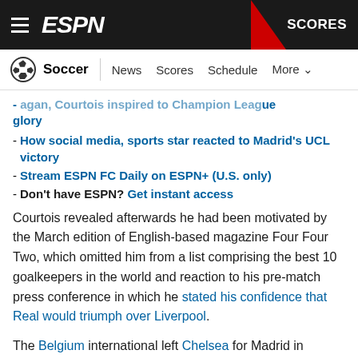ESPN - Soccer | SCORES
Soccer | News | Scores | Schedule | More
- [partial: ...again, Courtois inspired to Champion League glory]
- How social media, sports star reacted to Madrid's UCL victory
- Stream ESPN FC Daily on ESPN+ (U.S. only)
- Don't have ESPN? Get instant access
Courtois revealed afterwards he had been motivated by the March edition of English-based magazine Four Four Two, which omitted him from a list comprising the best 10 goalkeepers in the world and reaction to his pre-match press conference in which he stated his confidence that Real would triumph over Liverpool.
The Belgium international left Chelsea for Madrid in